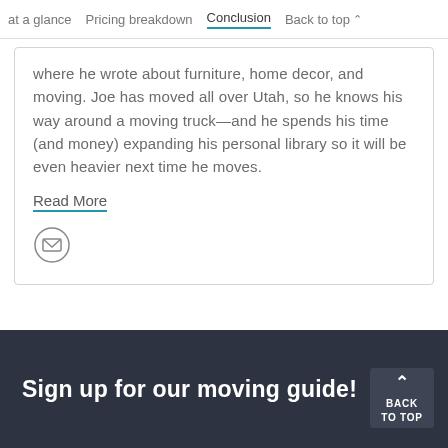at a glance   Pricing breakdown   Conclusion   Back to top
where he wrote about furniture, home decor, and moving. Joe has moved all over Utah, so he knows his way around a moving truck—and he spends his time (and money) expanding his personal library so it will be even heavier next time he moves.
Read More
[Figure (illustration): Email icon — circle with envelope symbol inside]
Sign up for our moving guide!